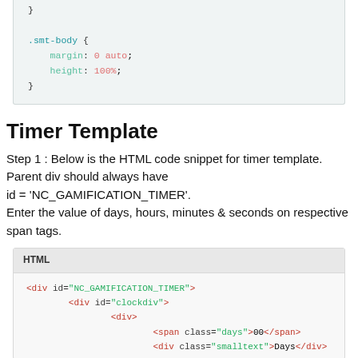[Figure (screenshot): CSS code block showing .smt-body { margin: 0 auto; height: 100%; }]
Timer Template
Step 1 : Below is the HTML code snippet for timer template. Parent div should always have id = 'NC_GAMIFICATION_TIMER'. Enter the value of days, hours, minutes & seconds on respective span tags.
[Figure (screenshot): HTML code block showing <div id="NC_GAMIFICATION_TIMER"><div id="clockdiv"><div><span class="days">00</span><div class="smalltext">Days</div>]